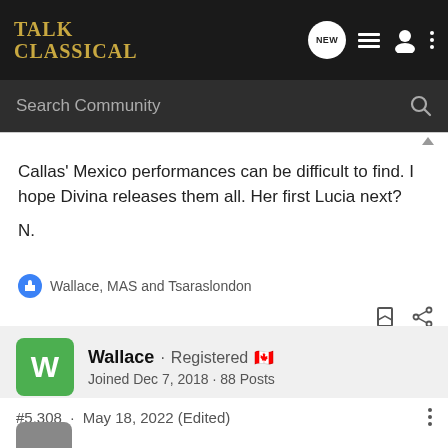Talk Classical — navigation bar with logo, search, and icons
Callas' Mexico performances can be difficult to find. I hope Divina releases them all. Her first Lucia next?

N.
Wallace, MAS and Tsaraslondon
Wallace · Registered 🇨🇦
Joined Dec 7, 2018 · 88 Posts
#5,308 · May 18, 2022 (Edited)